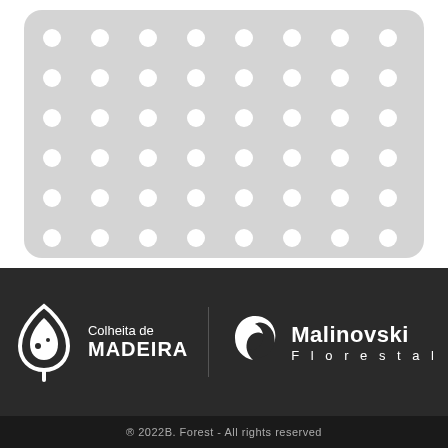[Figure (illustration): Light gray rounded rectangle filled with a grid of white dots (polka dot pattern), approximately 8 columns and 9 rows of evenly spaced white circles on a light gray background.]
[Figure (logo): White logo for 'Colheita de MADEIRA' consisting of a leaf/teardrop shaped icon on the left and text on the right: 'Colheita de' in regular weight above 'MADEIRA' in bold uppercase.]
[Figure (logo): White logo for 'Malinovski Florestal' consisting of a circular swoosh/leaf icon on the left and text on the right: 'Malinovski' in bold on top and 'F l o r e s t a l' in spaced regular weight below.]
® 2022B. Forest - All rights reserved